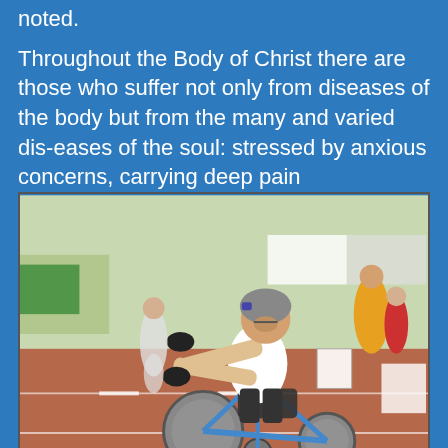noted.
Throughout the Body of Christ there are those who suffer not only from diseases of the body but from the many and varied dis-eases of the soul: stressed by anxious concerns, carrying deep pain
[Figure (photo): A person racing in a hand-cycle wheelchair on a red track at what appears to be an athletic competition. The athlete is wearing a white sleeveless shirt and a grey helmet, leaning forward intensely. Other participants and spectators are visible in the background.]
from the past, depressed in heart and spirit or just plagued by a whole host of negative emotions which can so easily quench the simple joy of